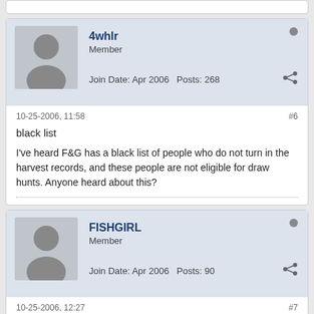4whlr
Member
Join Date: Apr 2006   Posts: 268
10-25-2006, 11:58
#6
black list
I've heard F&G has a black list of people who do not turn in the harvest records, and these people are not eligible for draw hunts. Anyone heard about this?
FISHGIRL
Member
Join Date: Apr 2006   Posts: 90
10-25-2006, 12:27
#7
&quot;black list&quot;